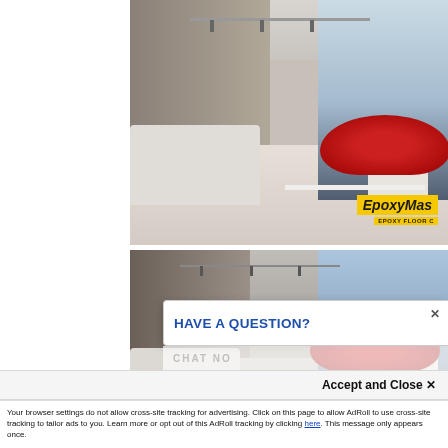[Figure (photo): Interior room with glossy epoxy floor, red sports car parked inside, white sofas, track lighting, large windows with city view. EpoxyMas logo in bottom right corner.]
[Figure (photo): Interior room with glossy epoxy floor, red sports car parked inside, white sofas, concrete walls, large windows with city view at dusk.]
HAVE A QUESTION?
CHAT NO
Accept and Close ✕
Your browser settings do not allow cross-site tracking for advertising. Click on this page to allow AdRoll to use cross-site tracking to tailor ads to you. Learn more or opt out of this AdRoll tracking by clicking here. This message only appears once.